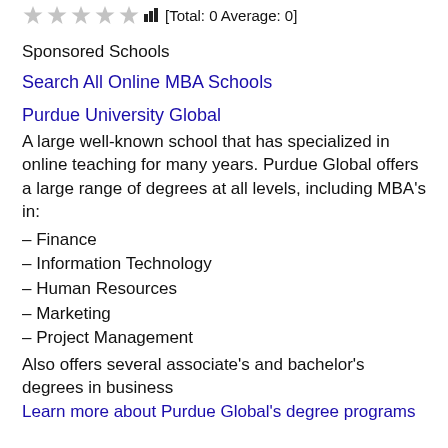[Total: 0 Average: 0]
Sponsored Schools
Search All Online MBA Schools
Purdue University Global
A large well-known school that has specialized in online teaching for many years. Purdue Global offers a large range of degrees at all levels, including MBA's in:
– Finance
– Information Technology
– Human Resources
– Marketing
– Project Management
Also offers several associate's and bachelor's degrees in business
Learn more about Purdue Global's degree programs